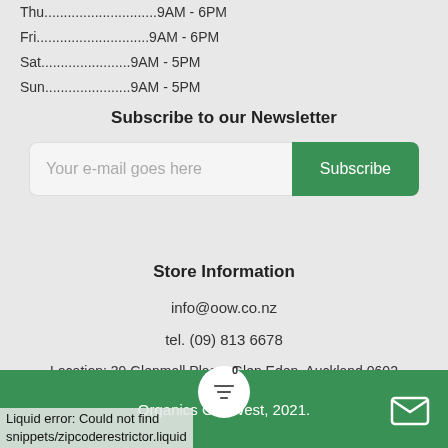Thu.......................9AM - 6PM
Fri...........................9AM - 6PM
Sat.......................9AM - 5PM
Sun......................9AM - 5PM
Subscribe to our Newsletter
Your e-mail goes here  [Subscribe]
Store Information
info@oow.co.nz
tel. (09) 813 6678
Location: 39 Glenmall Place, Glen Eden, Auckland 0602
Organics Out West, 2021.
Liquid error: Could not find snippets/zipcoderestrictor.liquid